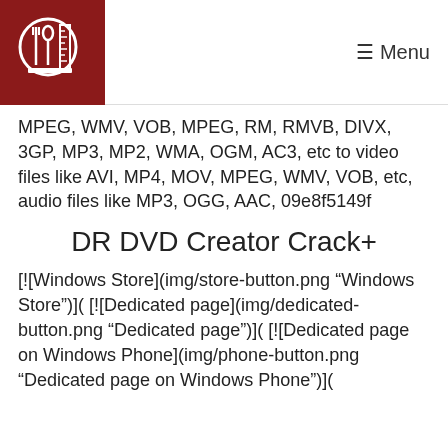Menu
MPEG, WMV, VOB, MPEG, RM, RMVB, DIVX, 3GP, MP3, MP2, WMA, OGM, AC3, etc to video files like AVI, MP4, MOV, MPEG, WMV, VOB, etc, audio files like MP3, OGG, AAC, 09e8f5149f
DR DVD Creator Crack+
[![Windows Store](img/store-button.png "Windows Store")]( [![Dedicated page](img/dedicated-button.png "Dedicated page")]( [![Dedicated page on Windows Phone](img/phone-button.png "Dedicated page on Windows Phone")](